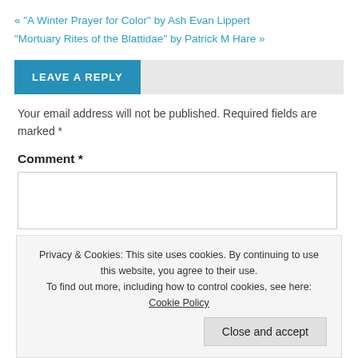« “A Winter Prayer for Color” by Ash Evan Lippert
“Mortuary Rites of the Blattidae” by Patrick M Hare »
LEAVE A REPLY
Your email address will not be published. Required fields are marked *
Comment *
Privacy & Cookies: This site uses cookies. By continuing to use this website, you agree to their use.
To find out more, including how to control cookies, see here: Cookie Policy
Close and accept